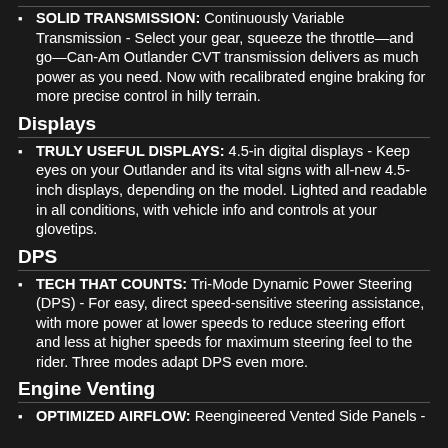SOLID TRANSMISSION: Continuously Variable Transmission - Select your gear, squeeze the throttle—and go—Can-Am Outlander CVT transmission delivers as much power as you need. Now with recalibrated engine braking for more precise control in hilly terrain.
Displays
TRULY USEFUL DISPLAYS: 4.5-in digital displays - Keep eyes on your Outlander and its vital signs with all-new 4.5-inch displays, depending on the model. Lighted and readable in all conditions, with vehicle info and controls at your glovetips.
DPS
TECH THAT COUNTS: Tri-Mode Dynamic Power Steering (DPS) - For easy, direct speed-sensitive steering assistance, with more power at lower speeds to reduce steering effort and less at higher speeds for maximum steering feel to the rider. Three modes adapt DPS even more.
Engine Venting
OPTIMIZED AIRFLOW: Reengineered Vented Side Panels -